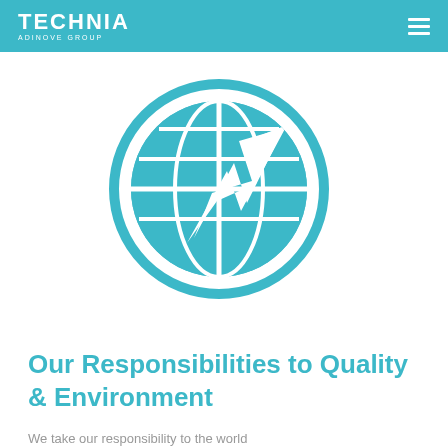TECHNIA ADINOVE GROUP
[Figure (illustration): Teal globe icon with an upward arrow overlaid on it, inside a teal circle outline. Represents global quality and environment responsibility.]
Our Responsibilities to Quality & Environment
We take our responsibility to the world